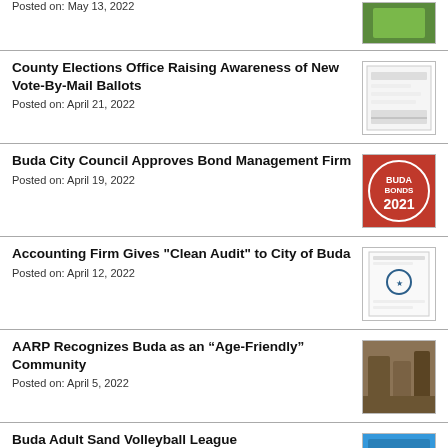Posted on: May 13, 2022
[Figure (photo): Thumbnail image (partial, top cropped)]
County Elections Office Raising Awareness of New Vote-By-Mail Ballots
Posted on: April 21, 2022
[Figure (photo): Vote by Mail ballot sample image]
Buda City Council Approves Bond Management Firm
Posted on: April 19, 2022
[Figure (photo): Buda Bonds 2021 logo]
Accounting Firm Gives "Clean Audit" to City of Buda
Posted on: April 12, 2022
[Figure (photo): City of Buda audit report document]
AARP Recognizes Buda as an “Age-Friendly” Community
Posted on: April 5, 2022
[Figure (photo): AARP recognition ceremony photo]
Buda Adult Sand Volleyball League Opening Night
[Figure (photo): Sand volleyball league thumbnail]